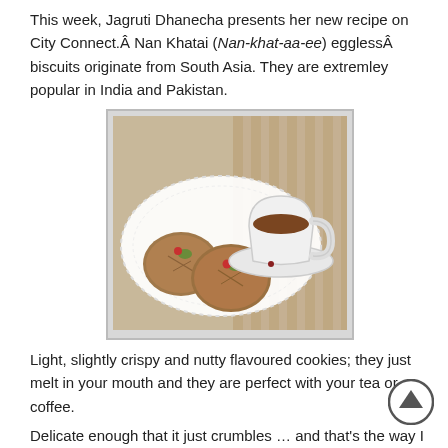This week, Jagruti Dhanecha presents her new recipe on City Connect.Â Nan Khatai (Nan-khat-aa-ee) egglessÂ biscuits originate from South Asia. They are extremley popular in India and Pakistan.
[Figure (photo): Photo of two Nan Khatai cookies with green and red toppings on a white lace doily, alongside a white teacup and saucer filled with tea, on a striped tablecloth.]
Light, slightly crispy and nutty flavoured cookies; they just melt in your mouth and they are perfect with your tea or coffee.
Delicate enough that it just crumbles … and that’s the way I like it.
Ingredients:
500 g plain flour